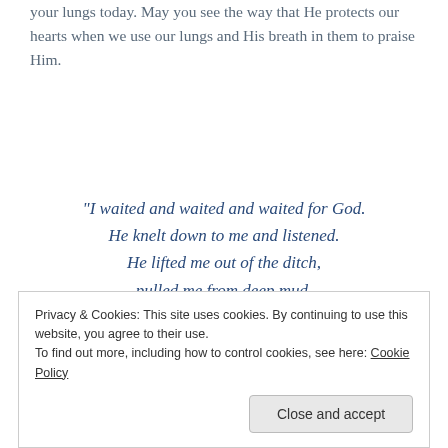your lungs today. May you see the way that He protects our hearts when we use our lungs and His breath in them to praise Him.
“I waited and waited and waited for God.
He knelt down to me and listened.
He lifted me out of the ditch,
pulled me from deep mud.
He stood me up on a solid rock
to make sure I wouldn’t slip.
He put a new song in my mouth,
Privacy & Cookies: This site uses cookies. By continuing to use this website, you agree to their use.
To find out more, including how to control cookies, see here: Cookie Policy
Close and accept